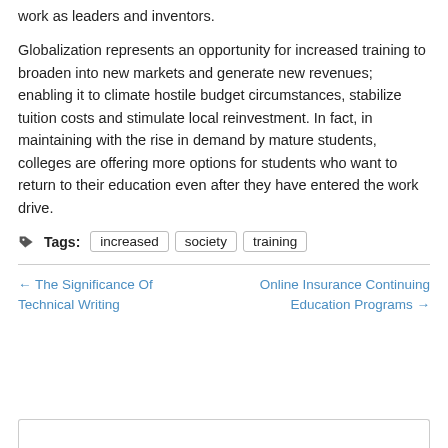work as leaders and inventors.
Globalization represents an opportunity for increased training to broaden into new markets and generate new revenues; enabling it to climate hostile budget circumstances, stabilize tuition costs and stimulate local reinvestment. In fact, in maintaining with the rise in demand by mature students, colleges are offering more options for students who want to return to their education even after they have entered the work drive.
Tags: increased  society  training
← The Significance Of Technical Writing
Online Insurance Continuing Education Programs →